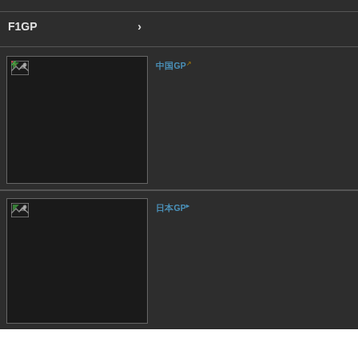F1GP　　　　　　　　　›
[Figure (screenshot): Dark card with broken image placeholder on left, Japanese text link with GP on right - first card]
[Figure (screenshot): Dark card with broken image placeholder on left, Japanese text link with GP on right - second card]